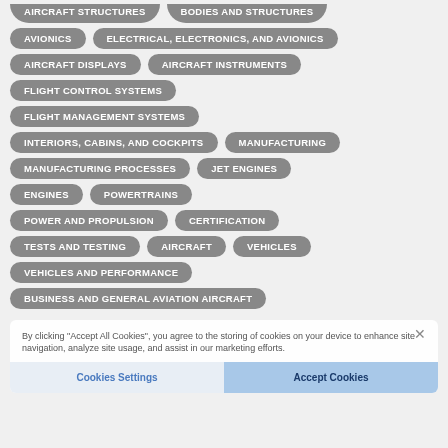AIRCRAFT STRUCTURES
BODIES AND STRUCTURES
AVIONICS
ELECTRICAL, ELECTRONICS, AND AVIONICS
AIRCRAFT DISPLAYS
AIRCRAFT INSTRUMENTS
FLIGHT CONTROL SYSTEMS
FLIGHT MANAGEMENT SYSTEMS
INTERIORS, CABINS, AND COCKPITS
MANUFACTURING
MANUFACTURING PROCESSES
JET ENGINES
ENGINES
POWERTRAINS
POWER AND PROPULSION
CERTIFICATION
TESTS AND TESTING
AIRCRAFT
VEHICLES
VEHICLES AND PERFORMANCE
BUSINESS AND GENERAL AVIATION AIRCRAFT
By clicking "Accept All Cookies", you agree to the storing of cookies on your device to enhance site navigation, analyze site usage, and assist in our marketing efforts.